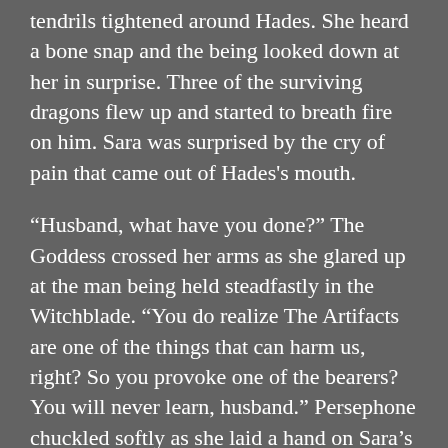tendrils tightened around Hades. She heard a bone snap and the being looked down at her in surprise. Three of the surviving dragons flew up and started to breath fire on him. Sara was surprised by the cry of pain that came out of Hades's mouth.
“Husband, what have you done?” The Goddess crossed her arms as she glared up at the man being held steadfastly in the Witchblade. “You do realize The Artifacts are one of the things that can harm us, right? So you provoke one of the bearers? You will never learn, husband.” Persephone chuckled softly as she laid a hand on Sara’s arm forcing the woman to look at her.
“Let him go little one. My husband may be a bastard but he would never have harmed the child.”